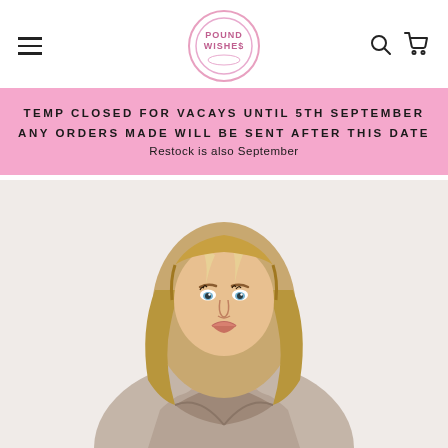POUND WISHES - navigation header with hamburger menu, logo, search and cart icons
TEMP CLOSED FOR VACAYS UNTIL 5TH SEPTEMBER ANY ORDERS MADE WILL BE SENT AFTER THIS DATE Restock is also September
[Figure (photo): Fashion model with long blonde highlighted hair, wearing a crossover taupe/grey printed bodycon dress, photographed from upper torso up against a light background]